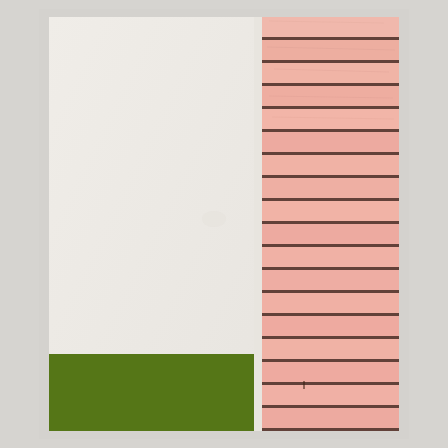[Figure (photo): Architectural photograph showing two surfaces side by side: on the left, a large off-white/cream plastered wall with a rectangular green painted section at the bottom; on the right, pink-painted horizontal wooden clapboard siding with dark gaps between the boards. Light gray border surrounds the image.]